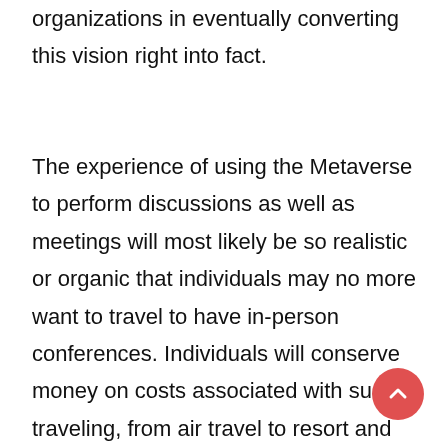organizations in eventually converting this vision right into fact.
The experience of using the Metaverse to perform discussions as well as meetings will most likely be so realistic or organic that individuals may no more want to travel to have in-person conferences. Individuals will conserve money on costs associated with such traveling, from air travel to resort and accommodations and also also dining in a restaurant. One of the most substantial advantage of this technology will certainly be the amount of time saved, which can be propound better usage.